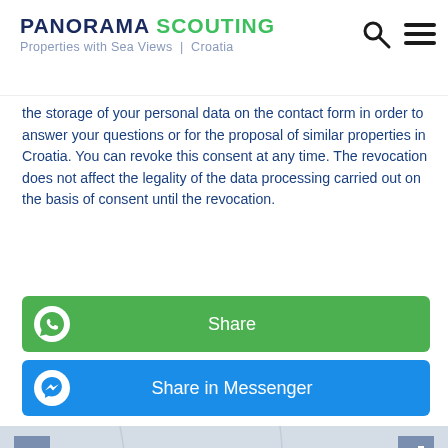PANORAMA SCOUTING — Properties with Sea Views | Croatia
the storage of your personal data on the contact form in order to answer your questions or for the proposal of similar properties in Croatia. You can revoke this consent at any time. The revocation does not affect the legality of the data processing carried out on the basis of consent until the revocation.
[Figure (screenshot): Green WhatsApp Share button with WhatsApp icon on the left]
[Figure (screenshot): Blue Facebook Messenger Share in Messenger button with Messenger icon on the left]
[Figure (map): Interactive map showing Croatian region with zoom controls (+/-) and expand button, showing Donji Žagbn label]